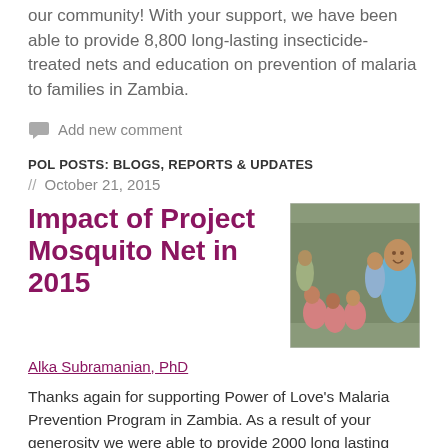our community! With your support, we have been able to provide 8,800 long-lasting insecticide-treated nets and education on prevention of malaria to families in Zambia.
Add new comment
POL POSTS: BLOGS, REPORTS & UPDATES
// October 21, 2015
Impact of Project Mosquito Net in 2015
[Figure (photo): Group photo of women and children, presumably in Zambia, smiling at the camera]
Alka Subramanian, PhD
Thanks again for supporting Power of Love's Malaria Prevention Program in Zambia. As a result of your generosity we were able to provide 2000 long lasting insecticide treated bed